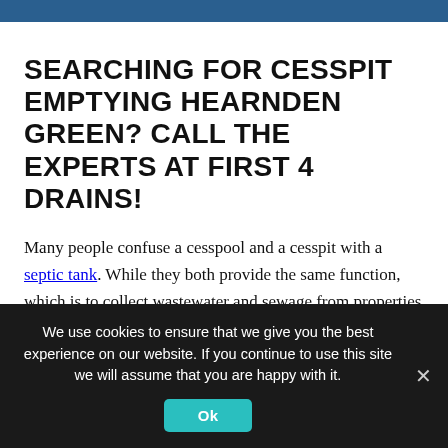SEARCHING FOR CESSPIT EMPTYING HEARNDEN GREEN? CALL THE EXPERTS AT FIRST 4 DRAINS!
Many people confuse a cesspool and a cesspit with a septic tank. While they both provide the same function, which is to collect wastewater and sewage from properties that are not connected to the mains sewer.
A cesspit differs to a septic tank in that they don't treat the
We use cookies to ensure that we give you the best experience on our website. If you continue to use this site we will assume that you are happy with it.